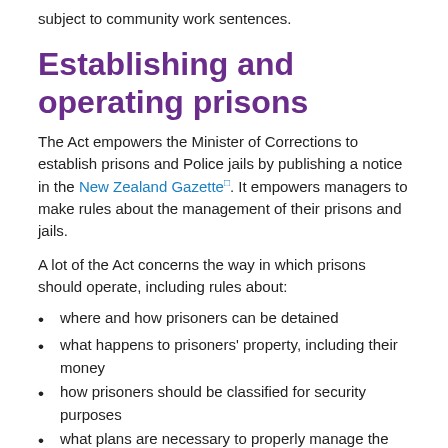subject to community work sentences.
Establishing and operating prisons
The Act empowers the Minister of Corrections to establish prisons and Police jails by publishing a notice in the New Zealand Gazette. It empowers managers to make rules about the management of their prisons and jails.
A lot of the Act concerns the way in which prisons should operate, including rules about:
where and how prisoners can be detained
what happens to prisoners' property, including their money
how prisoners should be classified for security purposes
what plans are necessary to properly manage the needs of prisoners
transferring prisoners between different prisons
how and when prisoners should be segregated from each other
temporary release from custody and temporary removal